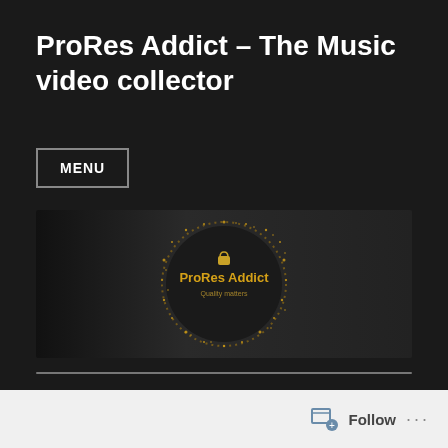ProRes Addict – The Music video collector
MENU
[Figure (logo): ProRes Addict banner image showing a circular gold glitter logo on dark background with text 'ProRes Addict' and 'Quality matters']
Tag: Nacho
Follow ...